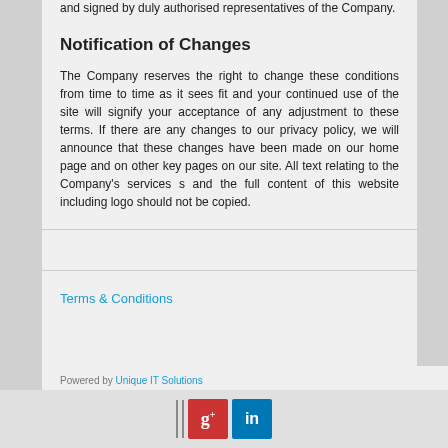and signed by duly authorised representatives of the Company.
Notification of Changes
The Company reserves the right to change these conditions from time to time as it sees fit and your continued use of the site will signify your acceptance of any adjustment to these terms. If there are any changes to our privacy policy, we will announce that these changes have been made on our home page and on other key pages on our site. All text relating to the Company's services s and the full content of this website including logo should not be copied.
Terms & Conditions
Powered by Unique IT Solutions